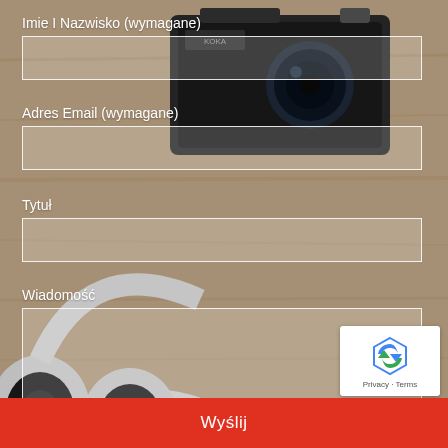[Figure (photo): Background photo of a wooden desk with a vintage camera, white headphones, and brown sunglasses]
Imie I Nazwisko (wymagane)
Adres Email (wymagane)
Tytuł
Wiadomość
Wyślij